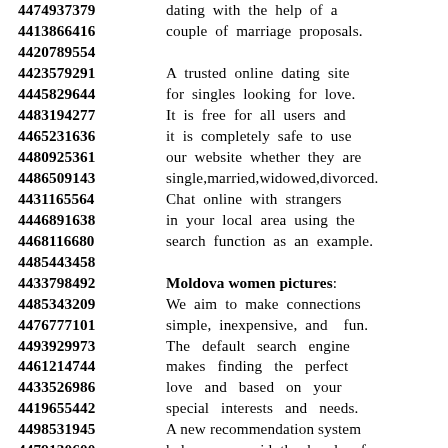4474937379 dating with the help of a
4413866416 couple of marriage proposals.
4420789554
4423579291 A trusted online dating site
4445829644 for singles looking for love.
4483194277 It is free for all users and
4465231636 it is completely safe to use
4480925361 our website whether they are
4486509143 single,married,widowed,divorced.
4431165564 Chat online with strangers
4446891638 in your local area using the
4468116680 search function as an example.
4485443458
4433798492 Moldova women pictures:
4485343209 We aim to make connections
4476777101 simple, inexpensive, and fun.
4493929973 The default search engine
4461214744 makes finding the perfect
4433526986 love and based on your
4419655442 special interests and needs.
4498531945 A new recommendation system
4479130600 helps you avoid the hassle of
4459936414 checking all the information.
4430635419 Browse thousands of online
4414918652 photos and images available,
4458476368 ...